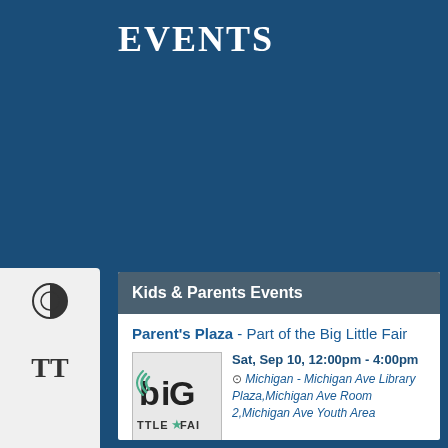EVENTS
Kids & Parents Events
Parent's Plaza - Part of the Big Little Fair
Sat, Sep 10, 12:00pm - 4:00pm
Michigan - Michigan Ave Library Plaza,Michigan Ave Room 2,Michigan Ave Youth Area
Learn about local organizations that support parents in our community. Activities for children will be available.
Family Maker Night: Scrabble Tiles - Decorate your own mirror frame
Wed, Sep 14, 6:30pm - 8:00pm